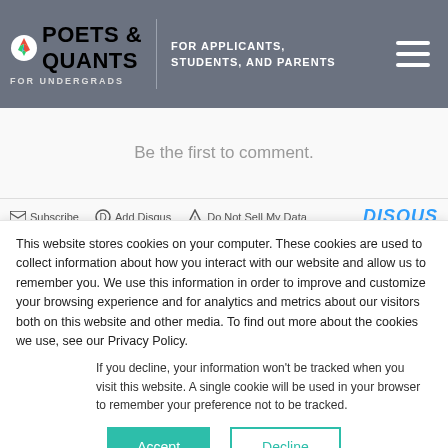[Figure (logo): Poets & Quants For Undergrads logo with colorful icon, tagline FOR APPLICANTS, STUDENTS, AND PARENTS, and hamburger menu]
Be the first to comment.
Subscribe   Add Disqus   Do Not Sell My Data   DISQUS
This website stores cookies on your computer. These cookies are used to collect information about how you interact with our website and allow us to remember you. We use this information in order to improve and customize your browsing experience and for analytics and metrics about our visitors both on this website and other media. To find out more about the cookies we use, see our Privacy Policy.
If you decline, your information won't be tracked when you visit this website. A single cookie will be used in your browser to remember your preference not to be tracked.